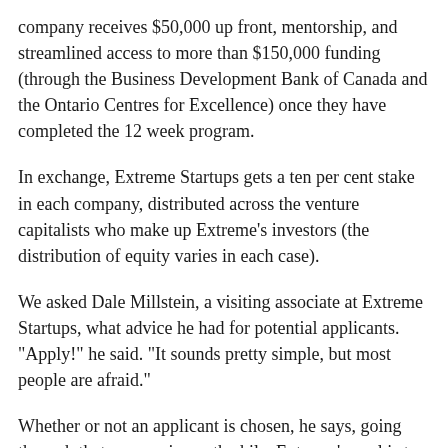company receives $50,000 up front, mentorship, and streamlined access to more than $150,000 funding (through the Business Development Bank of Canada and the Ontario Centres for Excellence) once they have completed the 12 week program.
In exchange, Extreme Startups gets a ten per cent stake in each company, distributed across the venture capitalists who make up Extreme's investors (the distribution of equity varies in each case).
We asked Dale Millstein, a visiting associate at Extreme Startups, what advice he had for potential applicants. "Apply!" he said. "It sounds pretty simple, but most people are afraid."
Whether or not an applicant is chosen, he says, going through that process is worthwhile. Extreme's goal is to foster community, and applying helps get new companies' names out, and exposes them to opportunities that may bear fruit later on.
As for who is likely to make the cut, Millstein says, the selection